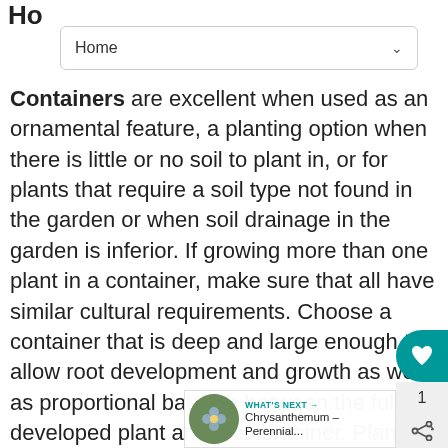Ho
Home
Containers are excellent when used as an ornamental feature, a planting option when there is little or no soil to plant in, or for plants that require a soil type not found in the garden or when soil drainage in the garden is inferior. If growing more than one plant in a container, make sure that all have similar cultural requirements. Choose a container that is deep and large enough to allow root development and growth as well as proportional balance between the fully developed plant and the container. Plant large containers in the place you intend them to stay. All containers have drainage holes. A mesh screen, broken clay not pieces(crock) or a paper coffee filter